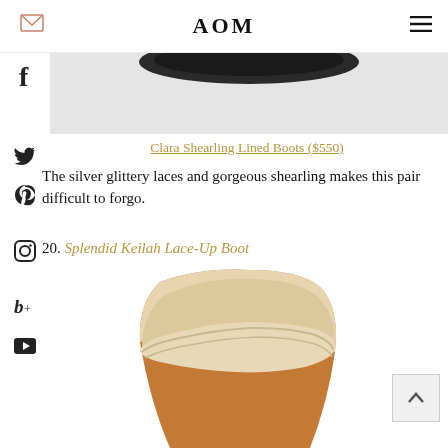AOM
[Figure (photo): Partial view of dark-colored boots with laces on a light gray background, only the top portion visible]
Clara Shearling Lined Boots ($550)
The silver glittery laces and gorgeous shearling makes this pair difficult to forgo.
20. Splendid Keilah Lace-Up Boot
[Figure (photo): Tan/caramel colored suede lace-up boot with white shearling lining folded over the top, laces visible at bottom]